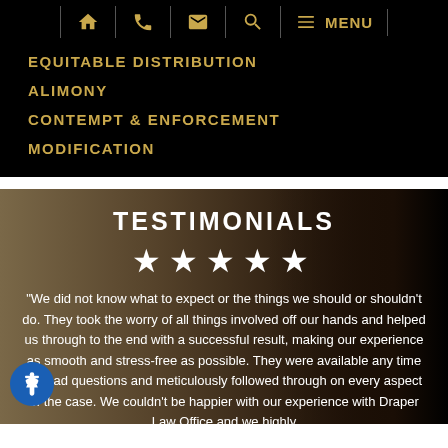Navigation bar with home, phone, email, search, and menu icons
EQUITABLE DISTRIBUTION
ALIMONY
CONTEMPT & ENFORCEMENT
MODIFICATION
TESTIMONIALS
★★★★★
“We did not know what to expect or the things we should or shouldn't do. They took the worry of all things involved off our hands and helped us through to the end with a successful result, making our experience as smooth and stress-free as possible. They were available any time we had questions and meticulously followed through on every aspect of the case. We couldn't be happier with our experience with Draper Law Office and we highly